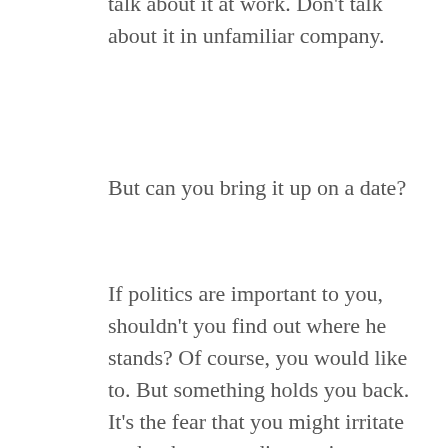Don't talk about it at the dinner table. Don't talk about it at work. Don't talk about it in unfamiliar company.
But can you bring it up on a date?
If politics are important to you, shouldn't you find out where he stands? Of course, you would like to. But something holds you back. It's the fear that you might irritate each other upon discovering divergent views, no matter how small.
But what if there was a way to support HIM without supporting his views?
Okay, so imagine this scenario. The appetizer is arriving at the table. At that moment, he makes an offhand comment about an upcoming